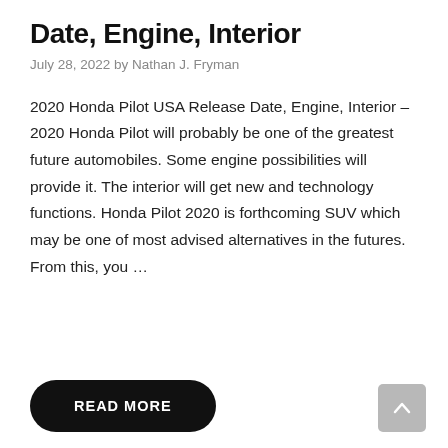Date, Engine, Interior
July 28, 2022 by Nathan J. Fryman
2020 Honda Pilot USA Release Date, Engine, Interior – 2020 Honda Pilot will probably be one of the greatest future automobiles. Some engine possibilities will provide it. The interior will get new and technology functions. Honda Pilot 2020 is forthcoming SUV which may be one of most advised alternatives in the futures. From this, you …
READ MORE